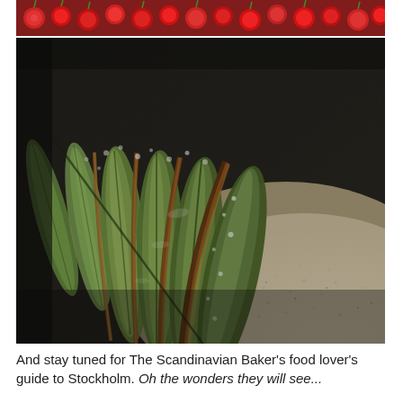[Figure (photo): Close-up photo of red currants or berries at the top (partial, cropped)]
[Figure (photo): Close-up photograph of caramelized or glazed green apple slices arranged on a bed of ground almond or crumble, dusted with powdered sugar, on a dark baking tray — a Scandinavian baked dessert]
And stay tuned for The Scandinavian Baker's food lover's guide to Stockholm. Oh the wonders they will see...